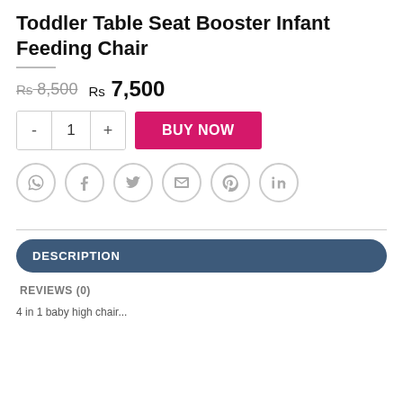Toddler Table Seat Booster Infant Feeding Chair
Rs 8,500  Rs 7,500
- 1 + BUY NOW
[Figure (other): Social sharing icons: WhatsApp, Facebook, Twitter, Email, Pinterest, LinkedIn]
DESCRIPTION
REVIEWS (0)
4 in 1 baby high chair...